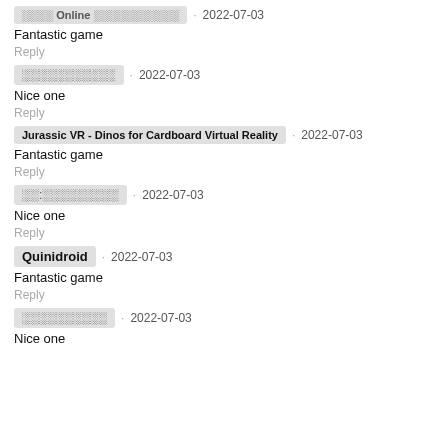░░░░ Online ░░░░░░░░░░░  2022-07-03
Fantastic game
Reply
░░░░░░░░░░░  2022-07-03
Nice one
Reply
Jurassic VR - Dinos for Cardboard Virtual Reality  2022-07-03
Fantastic game
Reply
░░:░░░░░░░░░  2022-07-03
Nice one
Reply
Quinidroid  2022-07-03
Fantastic game
Reply
░░░░░░░░░░  2022-07-03
Nice one